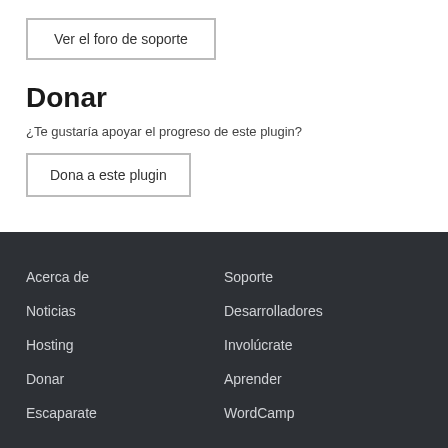Ver el foro de soporte
Donar
¿Te gustaría apoyar el progreso de este plugin?
Dona a este plugin
Acerca de
Noticias
Hosting
Donar
Soporte
Desarrolladores
Involúcrate
Aprender
Escaparate
WordCamp